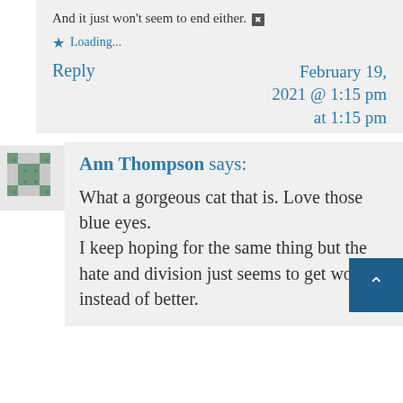And it just won't seem to end either.
★ Loading...
Reply
February 19, 2021 @ 1:15 pm at 1:15 pm
[Figure (illustration): Avatar/gravatar image for Ann Thompson commenter]
Ann Thompson says:
What a gorgeous cat that is. Love those blue eyes.
I keep hoping for the same thing but the hate and division just seems to get worse instead of better.